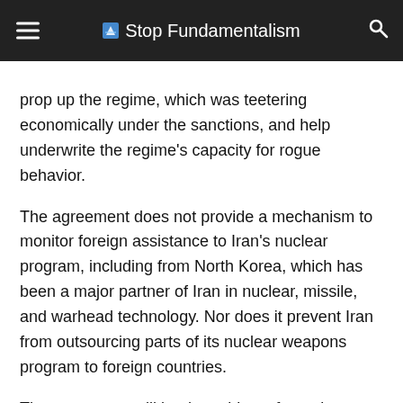Stop Fundamentalism
prop up the regime, which was teetering economically under the sanctions, and help underwrite the regime’s capacity for rogue behavior.
The agreement does not provide a mechanism to monitor foreign assistance to Iran’s nuclear program, including from North Korea, which has been a major partner of Iran in nuclear, missile, and warhead technology. Nor does it prevent Iran from outsourcing parts of its nuclear weapons program to foreign countries.
The agreement will be the subject of a serious investigation, scrutiny and oversight that Congress must undertake in the next 60 days. Lawmakers should scrutinize the deal in an objective and non-partisan way. A national security ma…